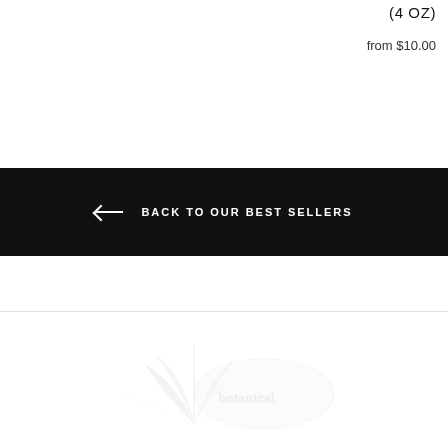(4 OZ)
from $10.00
← BACK TO OUR BEST SELLERS
[Figure (illustration): Faint watermark-style logo or decorative illustration in light gray at the bottom of the page]